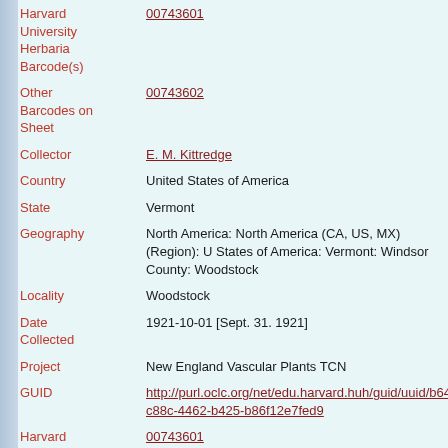Harvard University Herbaria Barcode(s): 00743601
Other Barcodes on Sheet: 00743602
Collector: E. M. Kittredge
Country: United States of America
State: Vermont
Geography: North America: North America (CA, US, MX) (Region): United States of America: Vermont: Windsor County: Woodstock
Locality: Woodstock
Date Collected: 1921-10-01 [Sept. 31. 1921]
Project: New England Vascular Plants TCN
GUID: http://purl.oclc.org/net/edu.harvard.huh/guid/uuid/b64c88c-4462-b425-b86f12e7fed9
Harvard University Herbaria Barcode: 00743601
Herbarium: GH